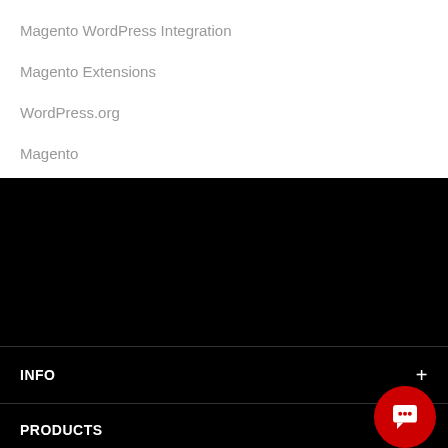Magento WordPress Integration
Magento Extensions
WordPress.org
Magento
[Figure (other): Black decorative/content area]
INFO
PRODUCTS